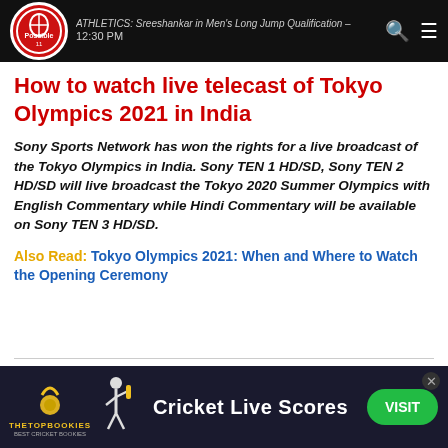ATHLETICS: Sreeshankar in Men's Long Jump Qualification – 12:30 PM
How to watch live telecast of Tokyo Olympics 2021 in India
Sony Sports Network has won the rights for a live broadcast of the Tokyo Olympics in India. Sony TEN 1 HD/SD, Sony TEN 2 HD/SD will live broadcast the Tokyo 2020 Summer Olympics with English Commentary while Hindi Commentary will be available on Sony TEN 3 HD/SD.
Also Read: Tokyo Olympics 2021: When and Where to Watch the Opening Ceremony
[Figure (infographic): Advertisement banner for TheTopBookies showing Cricket Live Scores with a VISIT button]